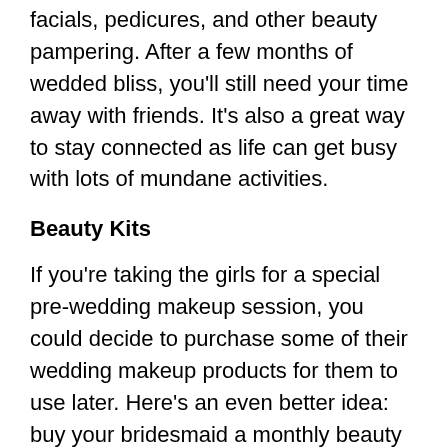facials, pedicures, and other beauty pampering. After a few months of wedded bliss, you'll still need your time away with friends. It's also a great way to stay connected as life can get busy with lots of mundane activities.
Beauty Kits
If you're taking the girls for a special pre-wedding makeup session, you could decide to purchase some of their wedding makeup products for them to use later. Here's an even better idea: buy your bridesmaid a monthly beauty kit.
Birchbox, founded in 2010, offers a monthly beauty kit filled with makeup